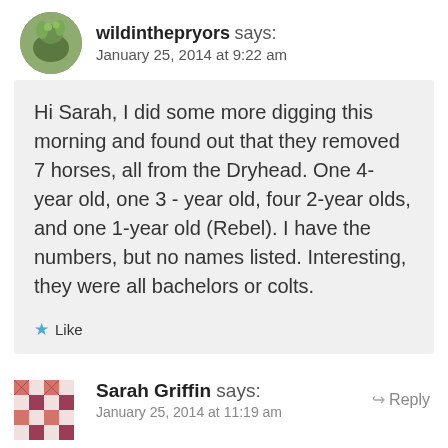wildinthepryors says: January 25, 2014 at 9:22 am
Hi Sarah, I did some more digging this morning and found out that they removed 7 horses, all from the Dryhead. One 4- year old, one 3 - year old, four 2-year olds, and one 1-year old (Rebel). I have the numbers, but no names listed. Interesting, they were all bachelors or colts.
Like
Reply
Sarah Griffin says: January 25, 2014 at 11:19 am